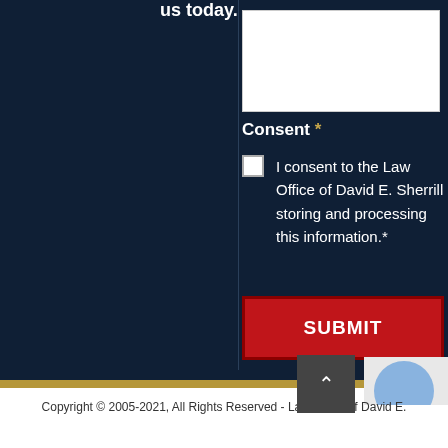us today.
[Figure (screenshot): White textarea input box for form submission]
Consent *
I consent to the Law Office of David E. Sherrill storing and processing this information.*
[Figure (screenshot): Red SUBMIT button]
[Figure (screenshot): Dark scroll-to-top button with caret/chevron up arrow]
Copyright © 2005-2021, All Rights Reserved - Law Office of David E.